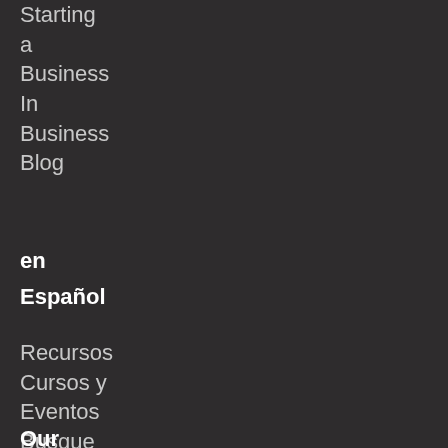Starting a Business
In
Business Blog
en Español
Recursos
Cursos y Eventos
Busque un Asesor
Our